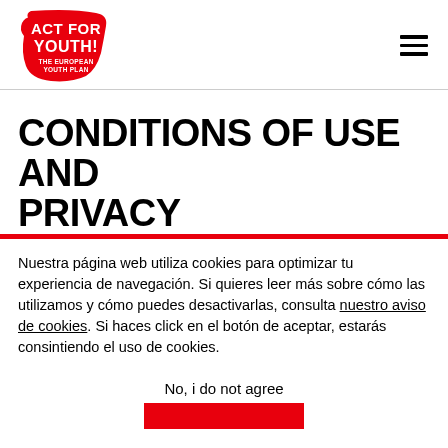[Figure (logo): Act for Youth! The European Youth Plan logo — red fist with white text]
CONDITIONS OF USE AND PRIVACY
Nuestra página web utiliza cookies para optimizar tu experiencia de navegación. Si quieres leer más sobre cómo las utilizamos y cómo puedes desactivarlas, consulta nuestro aviso de cookies. Si haces click en el botón de aceptar, estarás consintiendo el uso de cookies.
No, i do not agree